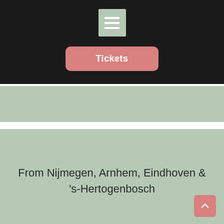[Figure (screenshot): Dark header bar with a sage-green menu icon box containing three white horizontal lines]
Tickets
[Figure (other): Sage-green horizontal band]
From Nijmegen, Arnhem, Eindhoven & 's-Hertogenbosch